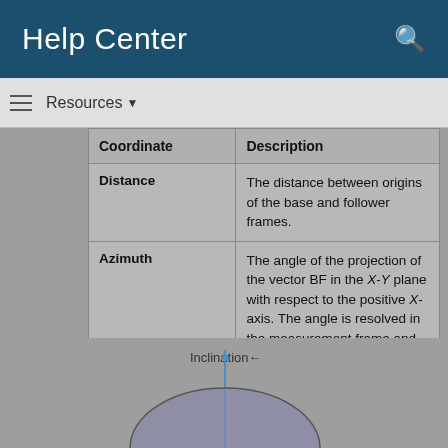Help Center
Resources ▼
| Coordinate | Description |
| --- | --- |
| Distance | The distance between origins of the base and follower frames. |
| Azimuth | The angle of the projection of the vector BF in the X-Y plane with respect to the positive X-axis. The angle is resolved in the measurement frame and falls in the range of [-π, π). |
| Inclination | The angle of the vector BF with respect to the X-Y plane of the measurement frame. The angle falls in the range of [-π/2, π/2]. |
[Figure (illustration): Diagram showing Inclination angle with a vertical axis line and a partial sphere/arc at the bottom, illustrating the inclination coordinate in 3D space.]